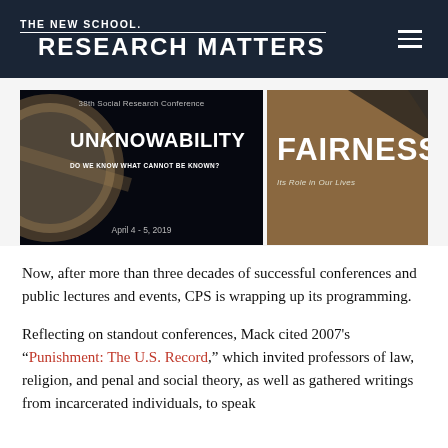THE NEW SCHOOL. RESEARCH MATTERS
[Figure (photo): Two conference promotional images side by side. Left: dark/space theme with '38th Social Research Conference', 'UNKNOWABILITY', 'DO WE KNOW WHAT CANNOT BE KNOWN?', 'April 4 - 5, 2019'. Right: warm brown theme with 'FAIRNESS', 'Its Role in Our Lives'.]
Now, after more than three decades of successful conferences and public lectures and events, CPS is wrapping up its programming.
Reflecting on standout conferences, Mack cited 2007's “Punishment: The U.S. Record,” which invited professors of law, religion, and penal and social theory, as well as gathered writings from incarcerated individuals, to speak